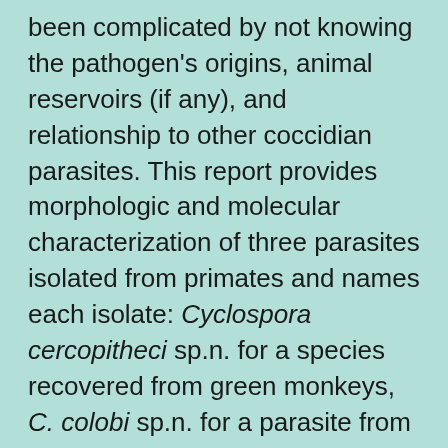been complicated by not knowing the pathogen's origins, animal reservoirs (if any), and relationship to other coccidian parasites. This report provides morphologic and molecular characterization of three parasites isolated from primates and names each isolate: Cyclospora cercopitheci sp.n. for a species recovered from green monkeys, C. colobi sp.n. for a parasite from colobus monkeys, and C. papionis sp.n. for a species infecting baboons. These species, plus C. cayetanensis, which infects humans, increase to four the recognized species of Cyclospora infecting primates. These four species group homogeneously as a single branch intermediate between avian and mammalian Eimeria. Results of our analysis contribute toward clarification of the taxonomic position of Cyclospora and its